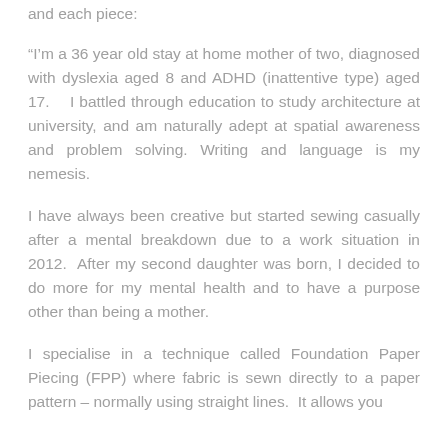and each piece:
“I’m a 36 year old stay at home mother of two, diagnosed with dyslexia aged 8 and ADHD (inattentive type) aged 17.    I battled through education to study architecture at university, and am naturally adept at spatial awareness and problem solving.  Writing and language is my nemesis.
I have always been creative but started sewing casually after a mental breakdown due to a work situation in 2012.  After my second daughter was born, I decided to do more for my mental health and to have a purpose other than being a mother.
I specialise in a technique called Foundation Paper Piecing (FPP) where fabric is sewn directly to a paper pattern – normally using straight lines.  It allows you